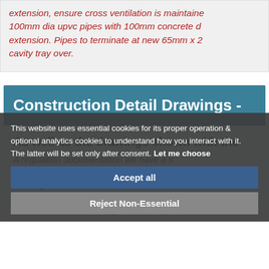extension, ensure cross ventilation is maintained. 100mm dia upvc pipes with 100mm concrete d extension. Pipes to terminate at new 65mm x 2 cavity tray over.
Construction Detail Drawings -
As well as the drawings shown with the A regulation documentation we have a s links where you can easily access a ran drawings taken from Home Extensions Conversions for use on your Building R for submission to Building Control or Ap
This website uses essential cookies for its proper operation & optional analytics cookies to understand how you interact with it. The latter will be set only after consent. Let me choose
Accept all
Reject Non-Essential